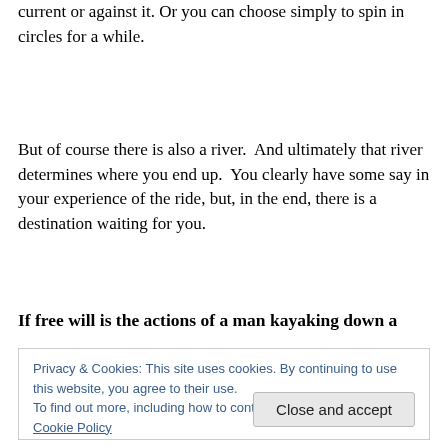current or against it. Or you can choose simply to spin in circles for a while.
But of course there is also a river.  And ultimately that river determines where you end up.  You clearly have some say in your experience of the ride, but, in the end, there is a destination waiting for you.
If free will is the actions of a man kayaking down a
Privacy & Cookies: This site uses cookies. By continuing to use this website, you agree to their use.
To find out more, including how to control cookies, see here: Cookie Policy